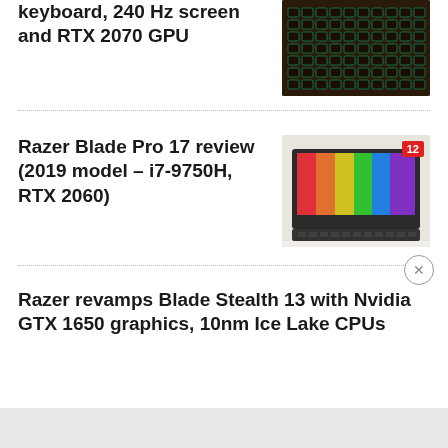keyboard, 240 Hz screen and RTX 2070 GPU
[Figure (photo): Close-up photo of a dark keyboard with green/teal backlit keys]
Razer Blade Pro 17 review (2019 model – i7-9750H, RTX 2060)
[Figure (photo): Photo of Razer Blade Pro 17 laptop open on a white surface, with rainbow screen and comment badge showing 12]
Razer revamps Blade Stealth 13 with Nvidia GTX 1650 graphics, 10nm Ice Lake CPUs